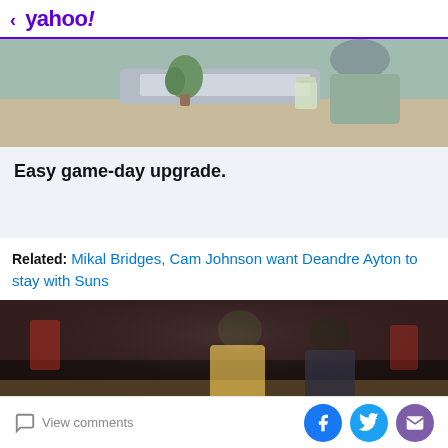< yahoo!
[Figure (photo): Advertisement banner showing a desk/office scene with person and keyboard. Headline: Easy game-day upgrade.]
Related: Mikal Bridges, Cam Johnson want Deandre Ayton to stay with Suns
[Figure (photo): Basketball game photo showing players in action on the court with crowd in background]
View comments | Social share buttons: Facebook, Twitter, Email